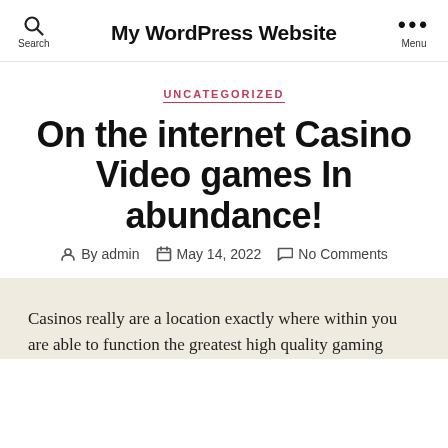Search | My WordPress Website | Menu
UNCATEGORIZED
On the internet Casino Video games In abundance!
By admin  May 14, 2022  No Comments
Casinos really are a location exactly where within you are able to function the greatest high quality gaming